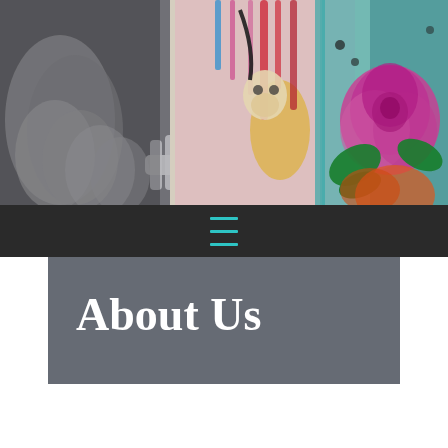[Figure (photo): Street art/graffiti photograph showing a skeleton with angel wings on the left and a colorful rose graffiti painting on a teal/multicolored background on the right]
About Us